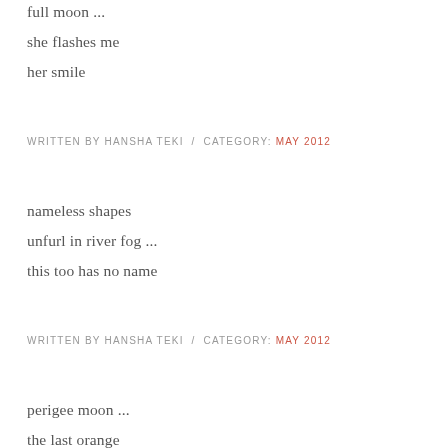full moon ...
she flashes me
her smile
WRITTEN BY HANSHA TEKI  /  CATEGORY: MAY 2012
nameless shapes
unfurl in river fog ...
this too has no name
WRITTEN BY HANSHA TEKI  /  CATEGORY: MAY 2012
perigee moon ...
the last orange